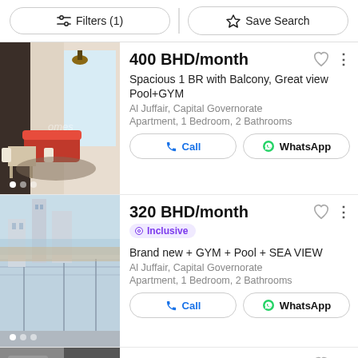Filters (1)   Save Search
[Figure (photo): Interior photo of furnished apartment with dining table, chairs, sofa and window]
400 BHD/month
Spacious 1 BR with Balcony, Great view Pool+GYM
Al Juffair, Capital Governorate
Apartment, 1 Bedroom, 2 Bathrooms
[Figure (photo): Balcony view of city skyline and sea from high-rise apartment]
320 BHD/month
Inclusive
Brand new + GYM + Pool + SEA VIEW
Al Juffair, Capital Governorate
Apartment, 1 Bedroom, 2 Bathrooms
[Figure (photo): Partial photo of apartment interior, dark/grey tones]
580 BHD/month